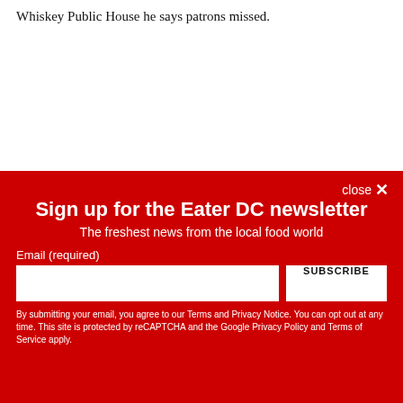Whiskey Public House he says patrons missed.
close ✕
Sign up for the Eater DC newsletter
The freshest news from the local food world
Email (required)
SUBSCRIBE
By submitting your email, you agree to our Terms and Privacy Notice. You can opt out at any time. This site is protected by reCAPTCHA and the Google Privacy Policy and Terms of Service apply.